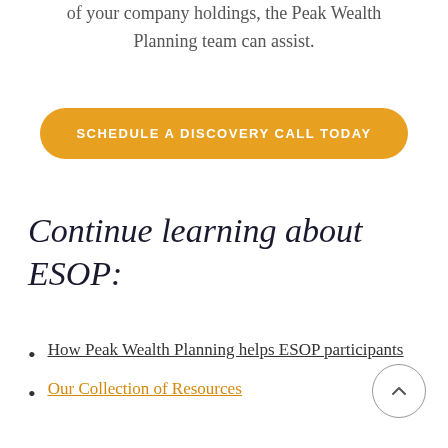of your company holdings, the Peak Wealth Planning team can assist.
SCHEDULE A DISCOVERY CALL TODAY
Continue learning about ESOP:
How Peak Wealth Planning helps ESOP participants
Our Collection of Resources